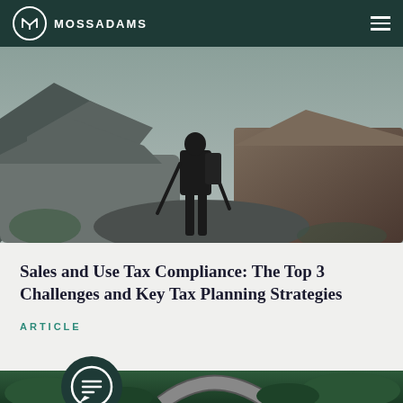MOSSADAMS
[Figure (photo): Hiker standing on rocky mountain terrain with trekking poles, dark silhouette against rocky landscape]
Sales and Use Tax Compliance: The Top 3 Challenges and Key Tax Planning Strategies
ARTICLE
[Figure (photo): Aerial view of a winding road through forested green hills]